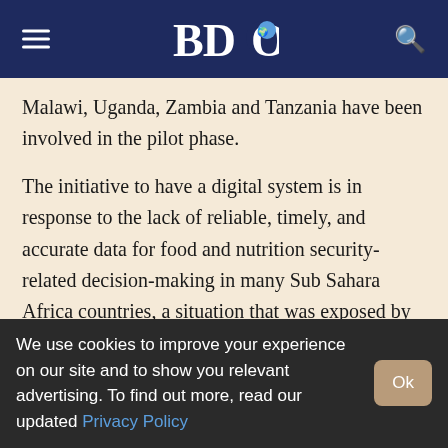BDO
Malawi, Uganda, Zambia and Tanzania have been involved in the pilot phase.
The initiative to have a digital system is in response to the lack of reliable, timely, and accurate data for food and nutrition security-related decision-making in many Sub Sahara Africa countries, a situation that was exposed by the Covid-19 pandemic.
In recognition of those data gaps and needs, Comesa Council of Ministers, in 2020 directed its Secretariat to implement a Comesa-wide RFBS initiative.
We use cookies to improve your experience on our site and to show you relevant advertising. To find out more, read our updated Privacy Policy